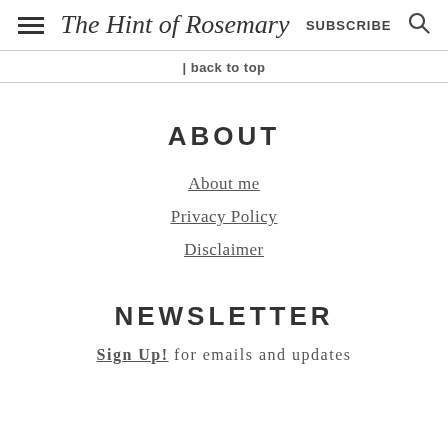The Hint of Rosemary | SUBSCRIBE
↑ back to top
ABOUT
About me
Privacy Policy
Disclaimer
NEWSLETTER
Sign Up! for emails and updates